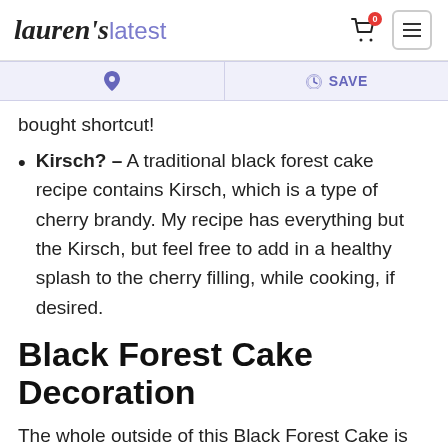Lauren's latest
bought shortcut!
Kirsch? – A traditional black forest cake recipe contains Kirsch, which is a type of cherry brandy. My recipe has everything but the Kirsch, but feel free to add in a healthy splash to the cherry filling, while cooking, if desired.
Black Forest Cake Decoration
The whole outside of this Black Forest Cake is covered in homemade whipped cream, dusted with